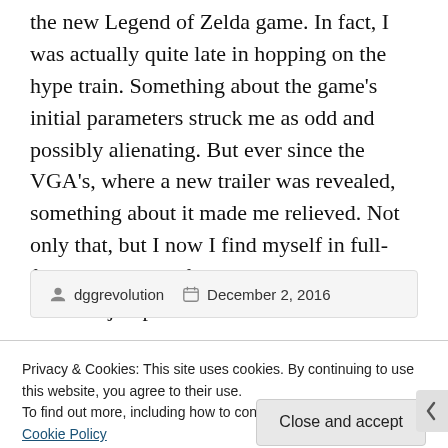the new Legend of Zelda game. In fact, I was actually quite late in hopping on the hype train. Something about the game's initial parameters struck me as odd and possibly alienating. But ever since the VGA's, where a new trailer was revealed, something about it made me relieved. Not only that, but I now I find myself in full-force hype mode for this game. Read why after the jump.
dggrevolution   December 2, 2016
Privacy & Cookies: This site uses cookies. By continuing to use this website, you agree to their use.
To find out more, including how to control cookies, see here: Cookie Policy
Close and accept